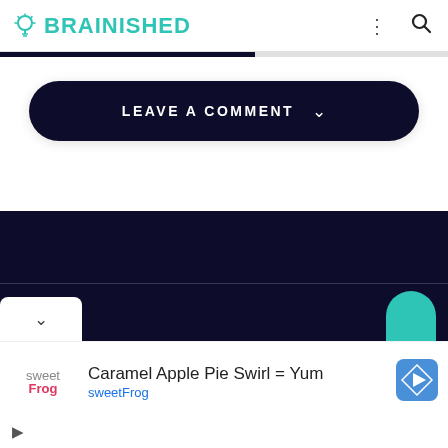BRAINISHED
[Figure (screenshot): Dark navy rounded button with text LEAVE A COMMENT and a chevron down arrow]
[Figure (screenshot): Dark navy footer bar with a white dropdown box containing a chevron and a teal circle button]
[Figure (screenshot): Advertisement for sweetFrog: Caramel Apple Pie Swirl = Yum with sweetFrog logo and navigation icon]